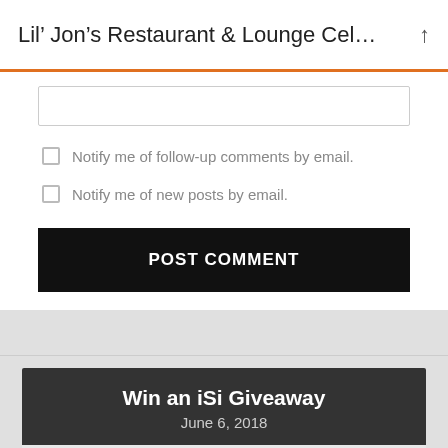Lil’ Jon’s Restaurant & Lounge Cel…
Notify me of follow-up comments by email.
Notify me of new posts by email.
POST COMMENT
Win an iSi Giveaway
June 6, 2018
The big day is here.